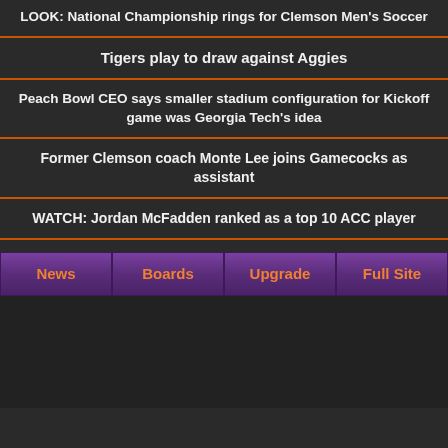LOOK: National Championship rings for Clemson Men's Soccer
Tigers play to draw against Aggies
Peach Bowl CEO says smaller stadium configuration for Kickoff game was Georgia Tech's idea
Former Clemson coach Monte Lee joins Gamecocks as assistant
WATCH: Jordan McFadden ranked as a top 10 ACC player
News | Boards | Upgrade | Full Site